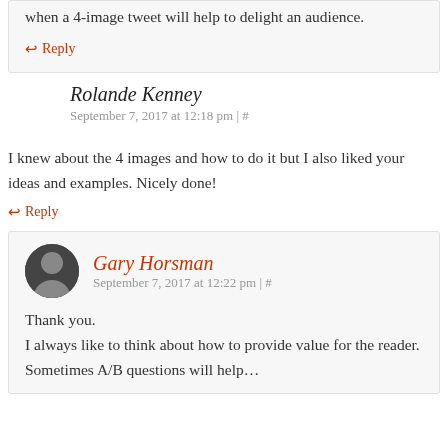when a 4-image tweet will help to delight an audience.
↩ Reply
Rolande Kenney
September 7, 2017 at 12:18 pm | #
I knew about the 4 images and how to do it but I also liked your ideas and examples. Nicely done!
↩ Reply
Gary Horsman
September 7, 2017 at 12:22 pm | #
Thank you.
I always like to think about how to provide value for the reader. Sometimes A/B questions will help...